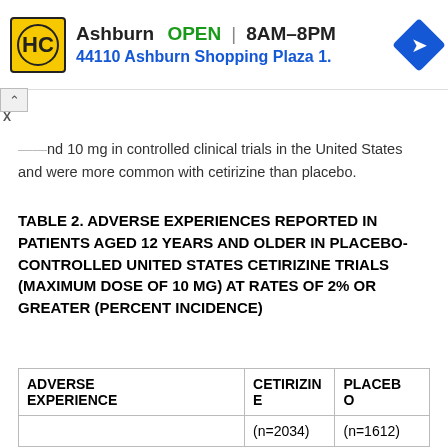[Figure (other): Advertisement banner: HC logo, Ashburn OPEN 8AM-8PM, 44110 Ashburn Shopping Plaza 1., with blue diamond arrow icon]
...and 10 mg in controlled clinical trials in the United States and were more common with cetirizine than placebo.
TABLE 2. ADVERSE EXPERIENCES REPORTED IN PATIENTS AGED 12 YEARS AND OLDER IN PLACEBO-CONTROLLED UNITED STATES CETIRIZINE TRIALS (MAXIMUM DOSE OF 10 MG) AT RATES OF 2% OR GREATER (PERCENT INCIDENCE)
| ADVERSE EXPERIENCE | CETIRIZINE | PLACEBO |
| --- | --- | --- |
|  | (n=2034) | (n=1612) |